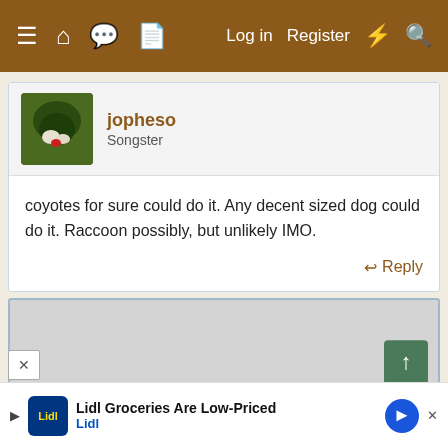≡ 🏠 💬 📄   Log in  Register  ⚡ 🔍
jopheso
Songster
coyotes for sure could do it. Any decent sized dog could do it. Raccoon possibly, but unlikely IMO.
↩ Reply
[Figure (screenshot): Gray content/ad placeholder area with green up and down navigation buttons on the right side]
Lidl Groceries Are Low-Priced
Lidl